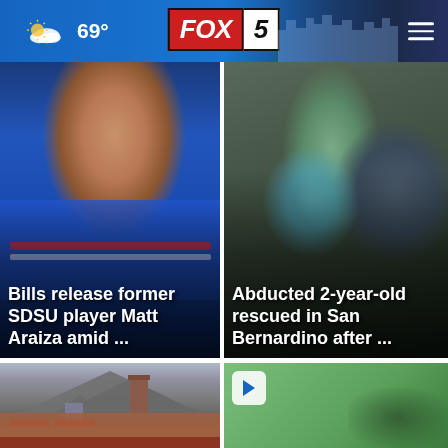69° FOX 5
[Figure (photo): Football player in Buffalo Bills blue jersey, close-up face/helmet shot]
Bills release former SDSU player Matt Araiza amid ...
[Figure (photo): Armed law enforcement officers, tactical gear, carrying child in blue clothing]
Abducted 2-year-old rescued in San Bernardino after ...
[Figure (photo): Residential house rooftop with chimney and brick exterior]
[Figure (photo): Green blurred background with play button icon, video thumbnail]